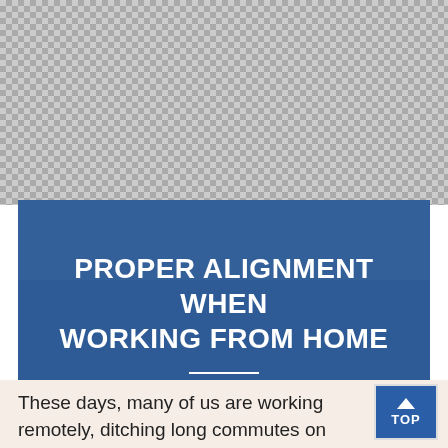[Figure (photo): Checkerboard transparent background area at the top of the page, representing a transparent/cropped region above the banner]
[Figure (photo): Blue banner with blurred photo background showing hands working, overlaid with semi-transparent dark blue. Contains the article title 'PROPER ALIGNMENT WHEN WORKING FROM HOME' in white uppercase text with a white horizontal divider line below.]
PROPER ALIGNMENT WHEN WORKING FROM HOME
These days, many of us are working remotely, ditching long commutes on congested road ways for slipper-padded strolls a few feet away to the home office